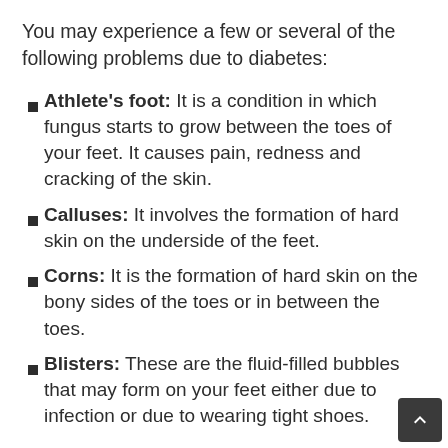You may experience a few or several of the following problems due to diabetes:
Athlete's foot: It is a condition in which fungus starts to grow between the toes of your feet. It causes pain, redness and cracking of the skin.
Calluses: It involves the formation of hard skin on the underside of the feet.
Corns: It is the formation of hard skin on the bony sides of the toes or in between the toes.
Blisters: These are the fluid-filled bubbles that may form on your feet either due to infection or due to wearing tight shoes.